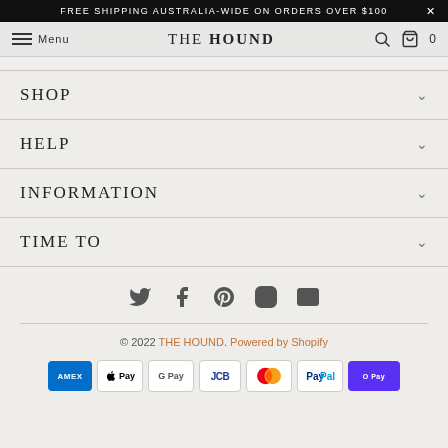FREE SHIPPING AUSTRALIA-WIDE ON ORDERS OVER $100
Menu  THE HOUND  🔍  🛒 0
SHOP
HELP
INFORMATION
TIME TO
[Figure (other): Social media icons row: Twitter, Facebook, Pinterest, Instagram, Email]
© 2022 THE HOUND. Powered by Shopify
[Figure (other): Payment method badges: Amex, Apple Pay, Google Pay, JCB, Mastercard, PayPal, Shop Pay]